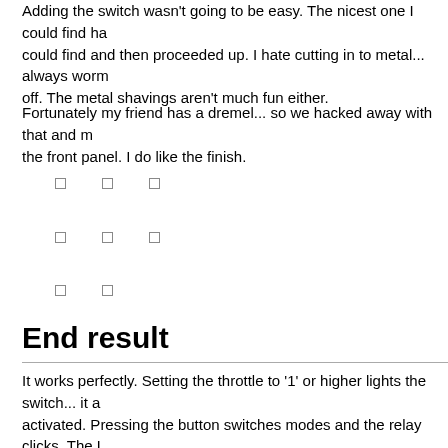Adding the switch wasn't going to be easy. The nicest one I could find had... could find and then proceeded up. I hate cutting in to metal... always worm off. The metal shavings aren't much fun either.
Fortunately my friend has a dremel... so we hacked away with that and m the front panel. I do like the finish.
[Figure (photo): Three rows of small square image thumbnails]
End result
It works perfectly. Setting the throttle to '1' or higher lights the switch... it a activated. Pressing the button switches modes and the relay clicks. The L position of the direction switch (and the power requirements of the locomo move.
[Figure (photo): One row of small square image thumbnails]
In fact, it shorted as soon as I tried to apply power to my ED100 on the te from its mount hole in the bogie frame and was happily shorting. After a re these Tenshodo/KTM models have quite a bit of flex. The lateral screw isn skew.